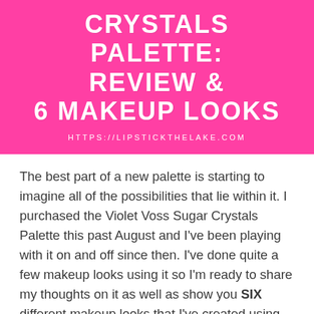CRYSTALS PALETTE: REVIEW & 6 MAKEUP LOOKS
HTTPS://LIPSTICKTHELAKE.COM
The best part of a new palette is starting to imagine all of the possibilities that lie within it. I purchased the Violet Voss Sugar Crystals Palette this past August and I've been playing with it on and off since then. I've done quite a few makeup looks using it so I'm ready to share my thoughts on it as well as show you SIX different makeup looks that I've created using this colourful and versatile palette! Continue reading →